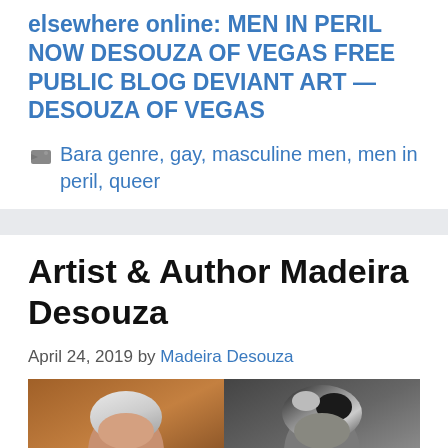elsewhere online: MEN IN PERIL NOW DESOUZA OF VEGAS FREE PUBLIC BLOG DEVIANT ART — DESOUZA OF VEGAS
Bara genre, gay, masculine men, men in peril, queer
Artist & Author Madeira Desouza
April 24, 2019 by Madeira Desouza
[Figure (photo): Two portrait photos side by side — left shows an older person with white/silver hair, right shows a person with dark streaked hair, both cropped at the top of frame]